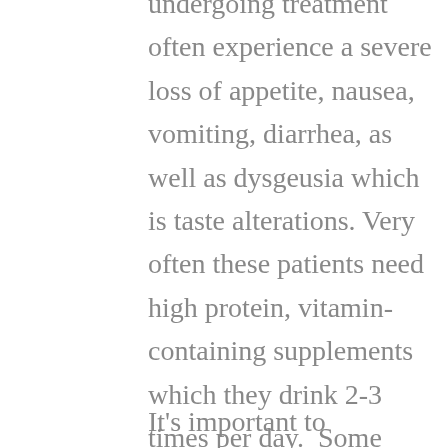undergoing treatment often experience a severe loss of appetite, nausea, vomiting, diarrhea, as well as dysgeusia which is taste alterations. Very often these patients need high protein, vitamin-containing supplements which they drink 2-3 times per day.  Some patients need tailored diets to help them get through spells of nausea and vomiting, and this is exactly how your dietitian can help you.
It's important to remember that cancer